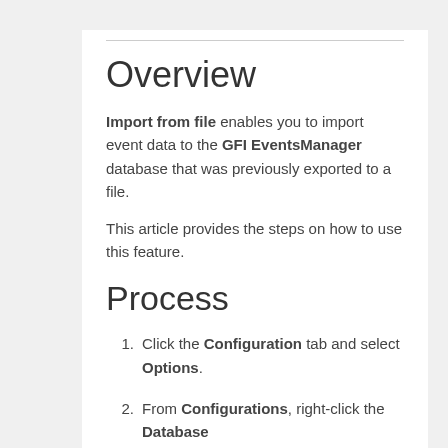Overview
Import from file enables you to import event data to the GFI EventsManager database that was previously exported to a file.
This article provides the steps on how to use this feature.
Process
1. Click the Configuration tab and select Options.
2. From Configurations, right-click the Database